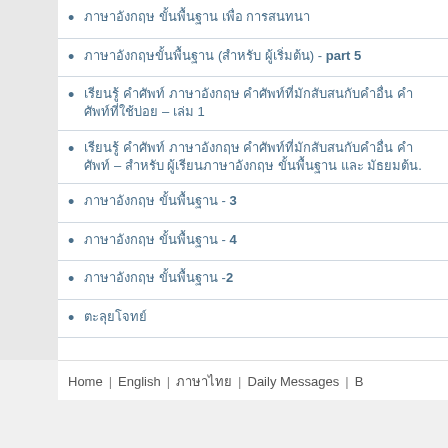ภาษาอังกฤษ ขั้นพื้นฐาน เพื่อ การสนทนา
ภาษาอังกฤษขั้นพื้นฐาน (สำหรับ ผู้เริ่มต้น) - part 5
เรียนรู้ คำศัพท์ ภาษาอังกฤษ คำศัพท์ที่มักสับสนกับคำอื่น คำศัพท์ที่ใช้บ่อย – เล่ม 1
เรียนรู้ คำศัพท์ ภาษาอังกฤษ คำศัพท์ที่มักสับสนกับคำอื่น คำศัพท์ – สำหรับ ผู้เรียนภาษาอังกฤษ ขั้นพื้นฐาน และ มัธยมต้น.
ภาษาอังกฤษ ขั้นพื้นฐาน - 3
ภาษาอังกฤษ ขั้นพื้นฐาน - 4
ภาษาอังกฤษ ขั้นพื้นฐาน -2
ตะลุยโจทย์
Home | English | ภาษาไทย | Daily Messages | B